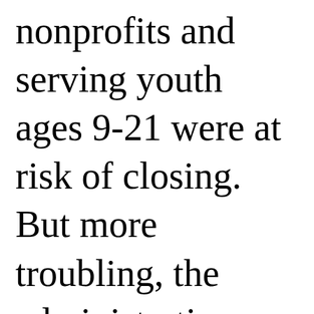nonprofits and serving youth ages 9-21 were at risk of closing. But more troubling, the administration never invested into the